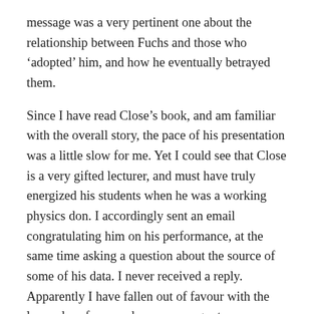message was a very pertinent one about the relationship between Fuchs and those who ‘adopted’ him, and how he eventually betrayed them.
Since I have read Close’s book, and am familiar with the overall story, the pace of his presentation was a little slow for me. Yet I could see that Close is a very gifted lecturer, and must have truly energized his students when he was a working physics don. I accordingly sent an email congratulating him on his performance, at the same time asking a question about the source of some of his data. I never received a reply. Apparently I have fallen out of favour with the learned professor, who was so eager to communicate with me a few years ago. (Coldspur 2: The Establishment 4)
The BBC and Professor Andrew: